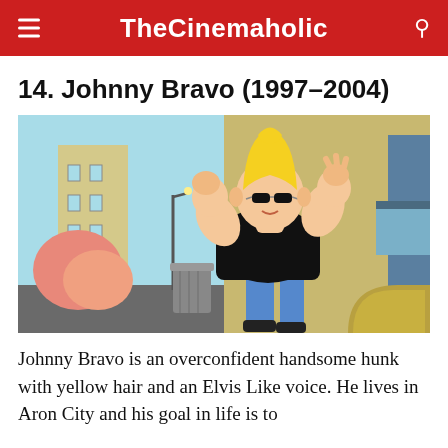TheCinemaholic
14. Johnny Bravo (1997–2004)
[Figure (illustration): Animated cartoon image of Johnny Bravo, a muscular man with tall yellow hair and sunglasses, wearing a black t-shirt and blue jeans, striking a flexing pose on a city street with a trash can and stylized buildings in the background.]
Johnny Bravo is an overconfident handsome hunk with yellow hair and an Elvis Like voice. He lives in Aron City and his goal in life is to...